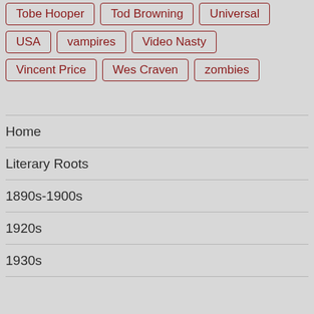Tobe Hooper
Tod Browning
Universal
USA
vampires
Video Nasty
Vincent Price
Wes Craven
zombies
Home
Literary Roots
1890s-1900s
1920s
1930s